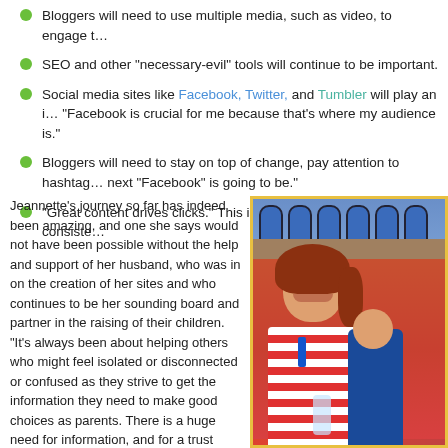Bloggers will need to use multiple media, such as video, to engage t…
SEO and other "necessary-evil" tools will continue to be important.
Social media sites like Facebook, Twitter, and Tumbler will play an i… "Facebook is crucial for me because that's where my audience is."
Bloggers will need to stay on top of change, pay attention to hashtag… next "Facebook" is going to be."
"Great content drives clicks." This is the most fundamental, consiste…
Jeannette's journey so far has indeed been amazing, and one she says would not have been possible without the help and support of her husband, who was in on the creation of her sites and who continues to be her sounding board and partner in the raising of their children. "It's always been about helping others who might feel isolated or disconnected or confused as they strive to get the information they need to make good choices as parents. There is a huge need for information, and for a trust circle," she says. Her passion is helping others, and she says: "Babies and children are amazing. If you can help someone improve the lives of their children, it is a beautiful thing."
[Figure (photo): Photo of a smiling woman with curly red hair wearing a red and white striped outfit, possibly holding a child, outdoors near architectural arches.]